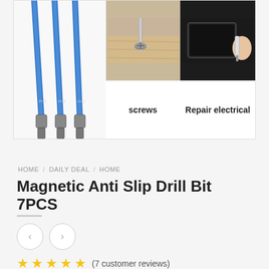[Figure (photo): Product image collage showing blue magnetic anti-slip drill bits on left, a screwdriver driving a screw into wood labeled 'screws' on right top-left, and a hand repairing an electronic tablet labeled 'Repair electrical' on right top-right]
HOME / DAILY DEAL / HOME
Magnetic Anti Slip Drill Bit 7PCS
(7 customer reviews)